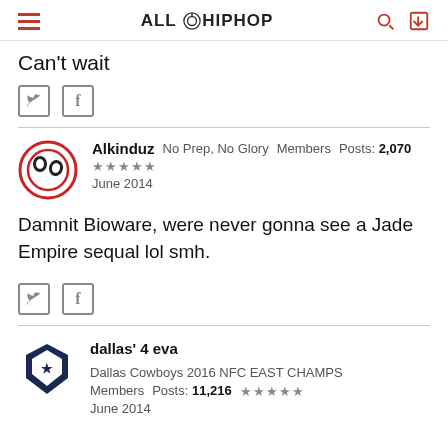AllHipHop
Can't wait
Alkinduz  No Prep, No Glory  Members  Posts: 2,070  ★★★★★  June 2014
Damnit Bioware, were never gonna see a Jade Empire sequal lol smh.
dallas' 4 eva  Dallas Cowboys 2016 NFC EAST CHAMPS  Members  Posts: 11,216  ★★★★★  June 2014